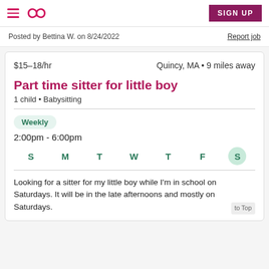Sitter job listing header with hamburger menu, infinity logo, and SIGN UP button
Posted by Bettina W. on 8/24/2022
Report job
$15–18/hr
Quincy, MA • 9 miles away
Part time sitter for little boy
1 child • Babysitting
Weekly
2:00pm - 6:00pm
S M T W T F S (Saturday highlighted)
Looking for a sitter for my little boy while I'm in school on Saturdays. It will be in the late afternoons and mostly on Saturdays.